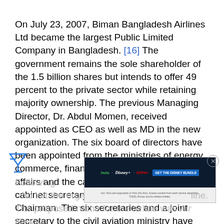On July 23, 2007, Biman Bangladesh Airlines Ltd became the largest Public Limited Company in Bangladesh. [16] The government remains the sole shareholder of the 1.5 billion shares but intends to offer 49 percent to the private sector while retaining majority ownership. The previous Managing Director, Dr. Abdul Momen, received appointed as CEO as well as MD in the new organization. The six board of directors have been appointed from the ministries of energy, commerce, finance, civil aviation, foreign affairs and the cabinet division with the cabinet secretary taking on the role as Chairman. The six secretaries and a joint secretary to the civil aviation ministry have been made the seven shareholders of the new PLC.[17]
[Figure (other): Advertisement banner: Hulu Disney+ ESPN+ GET THE DISNEY BUNDLE. Includes Hulu (ad-supported) or Hulu (No Ads). Access content from each service separately. ©2021 Disney and its related entities.]
Following ... who left the orga... line. The proposed name for the airline was Air Bangla...